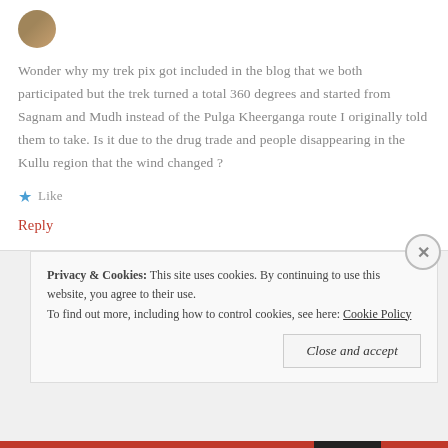[Figure (photo): Small circular avatar image of a person]
Wonder why my trek pix got included in the blog that we both participated but the trek turned a total 360 degrees and started from Sagnam and Mudh instead of the Pulga Kheerganga route I originally told them to take. Is it due to the drug trade and people disappearing in the Kullu region that the wind changed ?
★ Like
Reply
Privacy & Cookies: This site uses cookies. By continuing to use this website, you agree to their use.
To find out more, including how to control cookies, see here: Cookie Policy
Close and accept